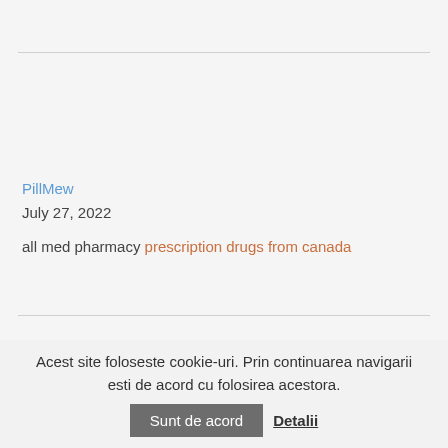PillMew
July 27, 2022
all med pharmacy prescription drugs from canada
Acest site foloseste cookie-uri. Prin continuarea navigarii esti de acord cu folosirea acestora. Sunt de acord Detalii